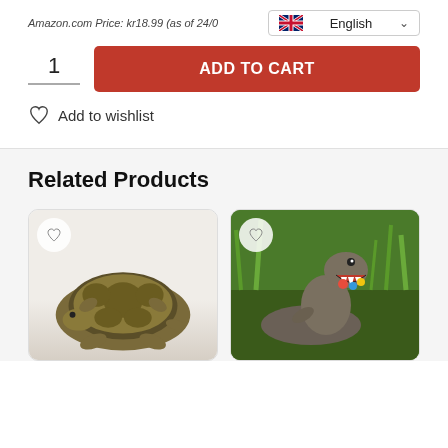Amazon.com Price: kr18.99 (as of 24/0…
English
1
ADD TO CART
Add to wishlist
Related Products
[Figure (photo): Product card showing a turtle figurine on light background]
[Figure (photo): Product card showing a dinosaur garden statue holding gnomes, set against green grass]